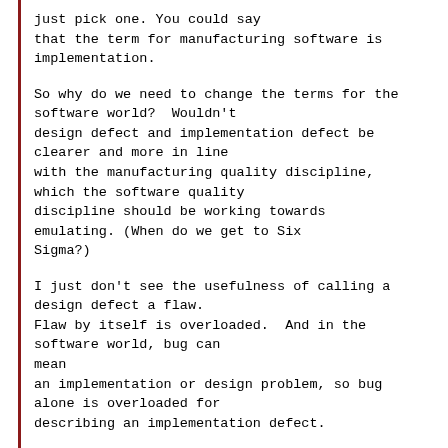just pick one. You could say that the term for manufacturing software is implementation.
So why do we need to change the terms for the software world?  Wouldn't design defect and implementation defect be clearer and more in line with the manufacturing quality discipline, which the software quality discipline should be working towards emulating. (When do we get to Six Sigma?)
I just don't see the usefulness of calling a design defect a flaw. Flaw by itself is overloaded.  And in the software world, bug can mean an implementation or design problem, so bug alone is overloaded for describing an implementation defect.